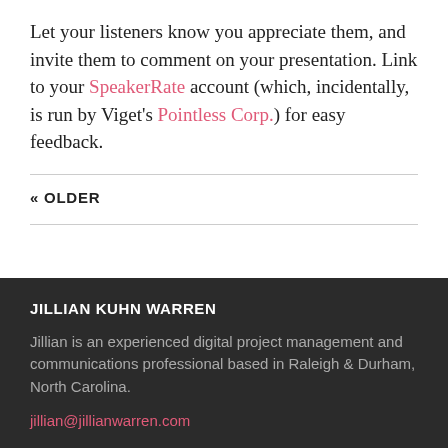Let your listeners know you appreciate them, and invite them to comment on your presentation. Link to your SpeakerRate account (which, incidentally, is run by Viget's Pointless Corp.) for easy feedback.
« OLDER
JILLIAN KUHN WARREN
Jillian is an experienced digital project management and communications professional based in Raleigh & Durham, North Carolina.
jillian@jillianwarren.com